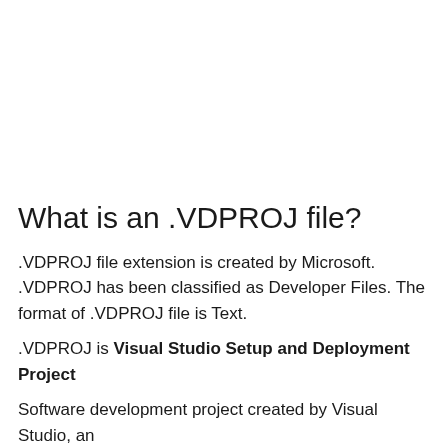What is an .VDPROJ file?
.VDPROJ file extension is created by Microsoft. .VDPROJ has been classified as Developer Files. The format of .VDPROJ file is Text.
.VDPROJ is Visual Studio Setup and Deployment Project
Software development project created by Visual Studio, an